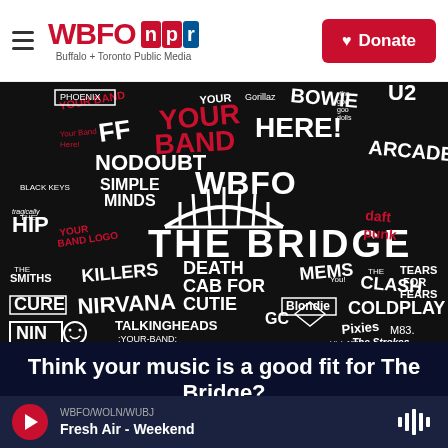WBFO NPR — Buffalo + Toronto Public Media | Donate
[Figure (photo): Dark promotional image for WBFO The Bridge radio station featuring band names (Phoenix, No Doubt, Nirvana, The Cure, NIN, Coldplay, Blondie, Arcade Fire, U2, Bowie, Gorillaz, Killers, The Clash, Tears for Fears, Pixies, M83, The Strokes, Blink-182, Talking Heads, Death Cab for Cutie, Simple Minds, The Smiths, etc.) written in white and red chalk-style text on black background, with 'WBFO THE BRIDGE' prominently displayed in the center with a bridge arch logo]
Think your music is a good fit for The Bridge?
We are looking for original bands with roots in Western New York and Southern Ontario to feature
WBFO/WOLN/WUBJ — Fresh Air - Weekend